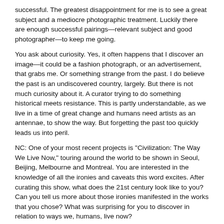successful. The greatest disappointment for me is to see a great subject and a mediocre photographic treatment. Luckily there are enough successful pairings—relevant subject and good photographer—to keep me going.
You ask about curiosity. Yes, it often happens that I discover an image—it could be a fashion photograph, or an advertisement, that grabs me. Or something strange from the past. I do believe the past is an undiscovered country, largely. But there is not much curiosity about it. A curator trying to do something historical meets resistance. This is partly understandable, as we live in a time of great change and humans need artists as an antennae, to show the way. But forgetting the past too quickly leads us into peril.
NC: One of your most recent projects is "Civilization: The Way We Live Now," touring around the world to be shown in Seoul, Beijing, Melbourne and Montreal. You are interested in the knowledge of all the ironies and caveats this word excites. After curating this show, what does the 21st century look like to you? Can you tell us more about those ironies manifested in the works that you chose? What was surprising for you to discover in relation to ways we, humans, live now?
WE: Also, the show is going to Marseille's Museum of Civilization, and the Auckland Art Gallery in New Zealand, and then to more western destinations, these latter ones in the planning stages.
It was a very personal choice, decided along with my co-curator Holly Roussell. "Civilization" is a pretty big word, so the show had to have weight to live up to it. But I expect anyone who sees it to question why this work was included, and that one wasn't. We have 140 photographers in the show, which